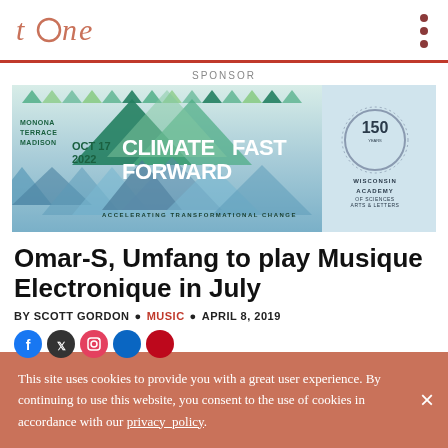tone
SPONSOR
[Figure (illustration): Climate Fast Forward event advertisement banner. OCT 17 2022, Monona Terrace Madison, Climate Fast Forward - Accelerating Transformational Change. Wisconsin Academy of Sciences Arts & Letters 150 years logo.]
Omar-S, Umfang to play Musique Electronique in July
BY SCOTT GORDON • MUSIC • APRIL 8, 2019
This site uses cookies to provide you with a great user experience. By continuing to use this website, you consent to the use of cookies in accordance with our privacy_policy.